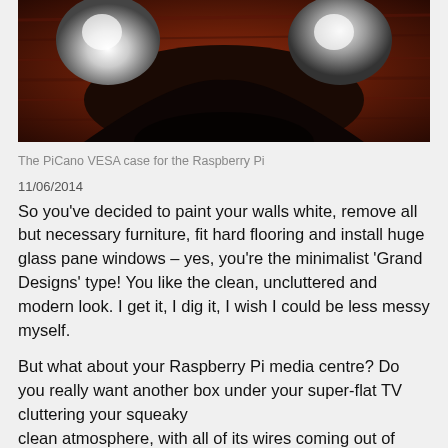[Figure (photo): Close-up photo of the PiCano VESA case for the Raspberry Pi, showing metallic chrome components against a dark red/wooden background]
The PiCano VESA case for the Raspberry Pi
11/06/2014
So you've decided to paint your walls white, remove all but necessary furniture, fit hard flooring and install huge glass pane windows – yes, you're the minimalist 'Grand Designs' type! You like the clean, uncluttered and modern look. I get it, I dig it, I wish I could be less messy myself.
But what about your Raspberry Pi media centre? Do you really want another box under your super-flat TV cluttering your squeaky clean atmosphere, with all of its wires coming out of every angle? You really want to hide all of that... but how?